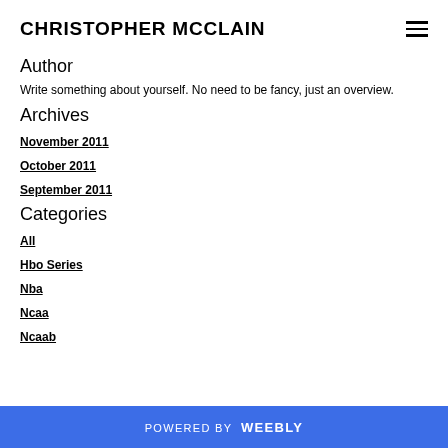CHRISTOPHER MCCLAIN
Author
Write something about yourself. No need to be fancy, just an overview.
Archives
November 2011
October 2011
September 2011
Categories
All
Hbo Series
Nba
Ncaa
Ncaab
POWERED BY weebly